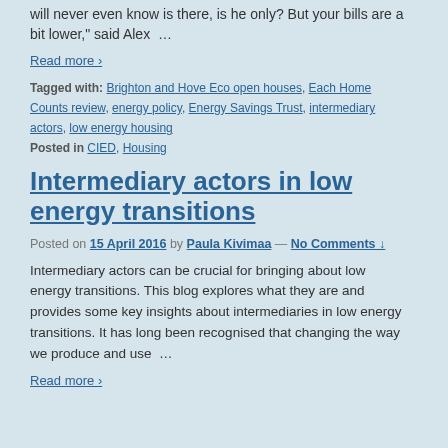will never even know is there, is he only? But your bills are a bit lower," said Alex …
Read more ›
Tagged with: Brighton and Hove Eco open houses, Each Home Counts review, energy policy, Energy Savings Trust, intermediary actors, low energy housing
Posted in CIED, Housing
Intermediary actors in low energy transitions
Posted on 15 April 2016 by Paula Kivimaa — No Comments ↓
Intermediary actors can be crucial for bringing about low energy transitions. This blog explores what they are and provides some key insights about intermediaries in low energy transitions. It has long been recognised that changing the way we produce and use …
Read more ›